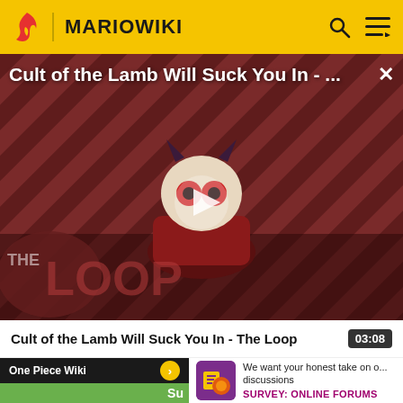MARIOWIKI
[Figure (screenshot): Video thumbnail for 'Cult of the Lamb Will Suck You In - The Loop' showing an animated creature on a striped red/dark background with THE LOOP text overlay and a play button]
Cult of the Lamb Will Suck You In - The Loop
03:08
One Piece Wiki
Su
[Figure (illustration): Survey icon - yellow/purple game-style character icon]
We want your honest take on o... discussions
SURVEY: ONLINE FORUMS